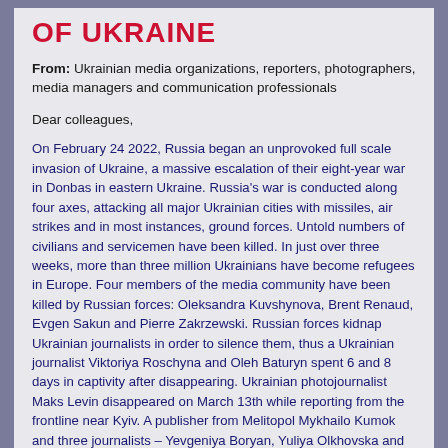OF UKRAINE
From: Ukrainian media organizations, reporters, photographers, media managers and communication professionals
Dear colleagues,
On February 24 2022, Russia began an unprovoked full scale invasion of Ukraine, a massive escalation of their eight-year war in Donbas in eastern Ukraine. Russia's war is conducted along four axes, attacking all major Ukrainian cities with missiles, air strikes and in most instances, ground forces. Untold numbers of civilians and servicemen have been killed. In just over three weeks, more than three million Ukrainians have become refugees in Europe. Four members of the media community have been killed by Russian forces: Oleksandra Kuvshynova, Brent Renaud, Evgen Sakun and Pierre Zakrzewski. Russian forces kidnap Ukrainian journalists in order to silence them, thus a Ukrainian journalist Viktoriya Roschyna and Oleh Baturyn spent 6 and 8 days in captivity after disappearing. Ukrainian photojournalist Maks Levin disappeared on March 13th while reporting from the frontline near Kyiv. A publisher from Melitopol Mykhailo Kumok and three journalists – Yevgeniya Boryan, Yuliya Olkhovska and Lyubov Chaika – has been also detained for 1 day and have been pressured to collaborate with Russian occupational regime in their